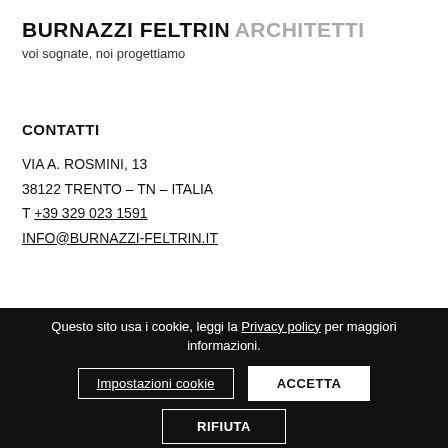BURNAZZI FELTRIN ARCHITETTI
voi sognate, noi progettiamo
CONTATTI
VIA A. ROSMINI, 13
38122 TRENTO – TN – ITALIA
T +39 329 023 1591
INFO@BURNAZZI-FELTRIN.IT
Questo sito usa i cookie, leggi la Privacy policy per maggiori informazioni. Impostazioni cookie ACCETTA RIFIUTA